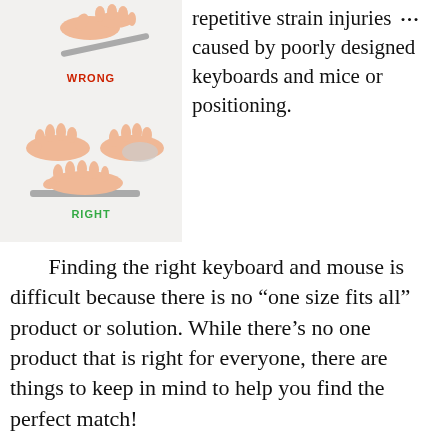[Figure (illustration): Illustration of hand/wrist positions labeled WRONG (top, shown in red) and RIGHT (bottom, shown in green), depicting correct and incorrect keyboard/mouse hand positioning.]
repetitive strain injuries caused by poorly designed keyboards and mice or positioning.
Finding the right keyboard and mouse is difficult because there is no “one size fits all” product or solution. While there’s no one product that is right for everyone, there are things to keep in mind to help you find the perfect match!